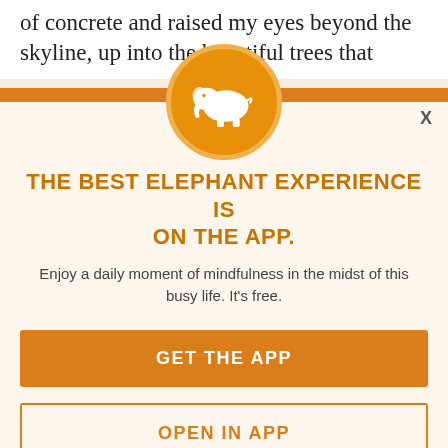of concrete and raised my eyes beyond the skyline, up into the beautiful trees that
surround our home. And I also noticed our big, blue sky, and oh, the sound! So many birds singing—what a beautiful sound! Research confirms the benefits of seeing and
THE BEST ELEPHANT EXPERIENCE IS ON THE APP.
Enjoy a daily moment of mindfulness in the midst of this busy life. It's free.
GET THE APP
OPEN IN APP